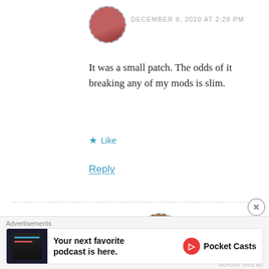DECEMBER 8, 2020 AT 2:28 PM
It was a small patch. The odds of it breaking any of my mods is slim.
★ Like
Reply
Alexis Kennon
DECEMBER 8, 2020 AT 7:19 PM
okay thanks
Advertisements
[Figure (infographic): Advertisement banner for Pocket Casts podcast app. Shows app screenshot on left, text 'Your next favorite podcast is here.' in center, and Pocket Casts logo on right.]